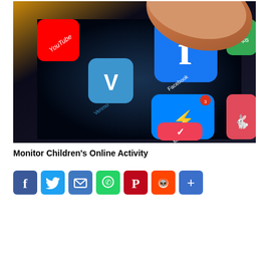[Figure (photo): Close-up photo of a finger tapping a smartphone screen showing social media app icons including YouTube, Venmo, Facebook, Facebook Messenger, and other apps]
Monitor Children's Online Activity
[Figure (infographic): Row of social media share buttons: Facebook (blue), Twitter (light blue), Email (blue), WhatsApp (green), Pinterest (red/dark), Reddit (orange-red), Share/More (blue)]